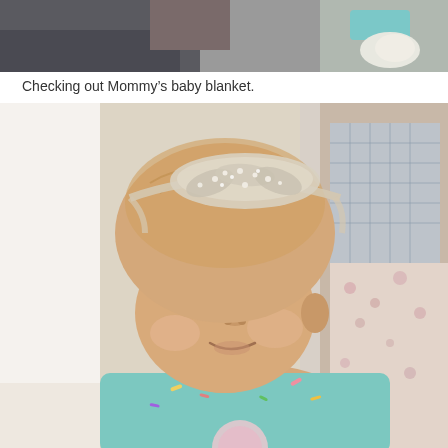[Figure (photo): Partial top photo showing a person holding a baby, cropped at top of page]
Checking out Mommy’s baby blanket.
[Figure (photo): Close-up photo of a baby wearing a sparkly rhinestone headband and a light teal onesie with colorful sprinkle print, resting against a floral and plaid blanket, looking to the side with a slight smile]